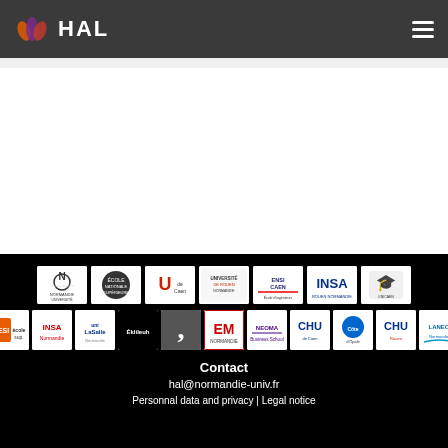HAL
[Figure (logo): HAL open archive platform header with logo and hamburger menu]
[Figure (logo): Row of institutional partner logos: Normandie Université, and others including ENSICAEN, INSA, etc.]
[Figure (logo): Second row of institutional partner logos: CESI, EM, CHU, LANEO, etc.]
Contact
hal@normandie-univ.fr
Personnal data and privacy | Legal notice